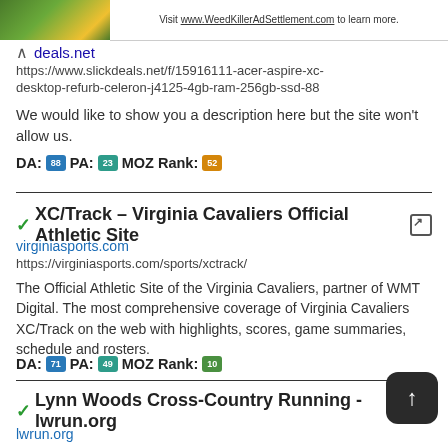Visit www.WeedKillerAdSettlement.com to learn more.
deals.net
https://www.slickdeals.net/f/15916111-acer-aspire-xc-desktop-refurb-celeron-j4125-4gb-ram-256gb-ssd-88
We would like to show you a description here but the site won't allow us.
DA: 88 PA: 23 MOZ Rank: 52
✓XC/Track – Virginia Cavaliers Official Athletic Site
virginiasports.com
https://virginiasports.com/sports/xctrack/
The Official Athletic Site of the Virginia Cavaliers, partner of WMT Digital. The most comprehensive coverage of Virginia Cavaliers XC/Track on the web with highlights, scores, game summaries, schedule and rosters.
DA: 71 PA: 49 MOZ Rank: 10
✓Lynn Woods Cross-Country Running - lwrun.org
lwrun.org